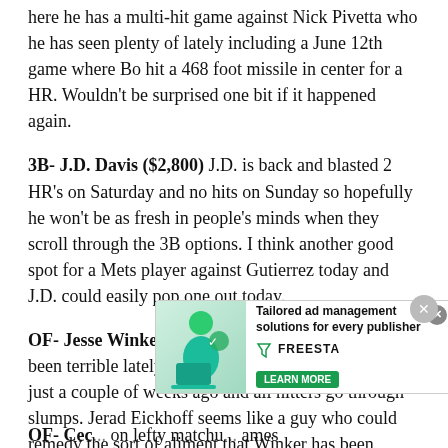here he has a multi-hit game against Nick Pivetta who he has seen plenty of lately including a June 12th game where Bo hit a 468 foot missile in center for a HR. Wouldn't be surprised one bit if it happened again.
3B- J.D. Davis ($2,800) J.D. is back and blasted 2 HR's on Saturday and no hits on Sunday so hopefully he won't be as fresh in people's minds when they scroll through the 3B options. I think another good spot for a Mets player against Gutierrez today and J.D. could easily pop one out today.
OF- Jesse Winker ($3,300) I know I know he has been terrible lately but come on this guy was raking just a couple of weeks ago and all hitters go through slumps. Jerad Eickhoff seems like a guy who could remedy the sort of aliment that Winker has been dealing with lately. There will be plenty of DFS players who won't want to take that chance so there's your advantage you need right there.
[Figure (other): Tailored ad management solutions for every publisher - FREESTA advertisement banner with learn more button and close button]
OF- Cec... on lefty matchu... ames